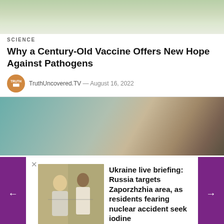[Figure (photo): Top portion of an article image showing green and light background, partially cropped]
SCIENCE
Why a Century-Old Vaccine Offers New Hope Against Pathogens
TruthUncovered.TV — August 16, 2022
[Figure (photo): Article image showing a medical/clinical setting with muted teal and brown tones]
[Figure (screenshot): Carousel widget showing: Ukraine live briefing: Russia targets Zaporzhzhia area, as residents fearing nuclear accident seek iodine, with thumbnail of two people at a table]
Ukraine live briefing: Russia targets Zaporzhzhia area, as residents fearing nuclear accident seek iodine